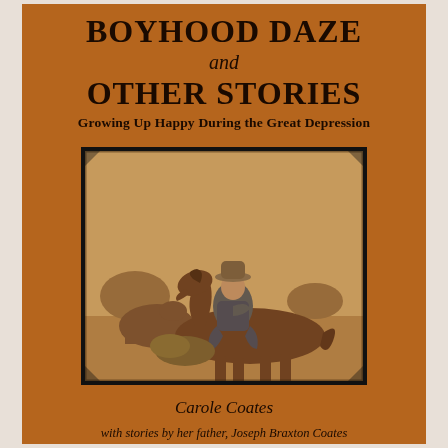BOYHOOD DAZE and OTHER STORIES
Growing Up Happy During the Great Depression
[Figure (photo): Sepia-toned vintage photograph of a young boy in overalls and a hat riding a horse in an open field, with another horse partially visible in the background.]
Carole Coates
with stories by her father, Joseph Braxton Coates